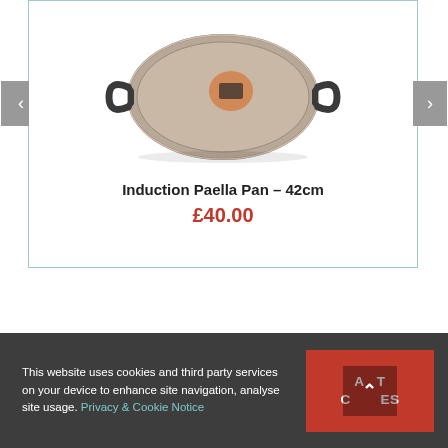[Figure (photo): A circular steel induction paella pan with two handles, viewed from above at a slight angle, with a product label visible in the center.]
Induction Paella Pan – 42cm
£40.00
This website uses cookies and third party services on your device to enhance site navigation, analyse site usage. Privacy & Cookie Notice